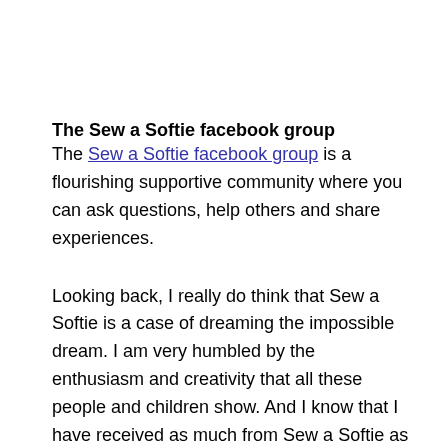The Sew a Softie facebook group
The Sew a Softie facebook group is a flourishing supportive community where you can ask questions, help others and share experiences.
Looking back, I really do think that Sew a Softie is a case of dreaming the impossible dream. I am very humbled by the enthusiasm and creativity that all these people and children show. And I know that I have received as much from Sew a Softie as anyone else.